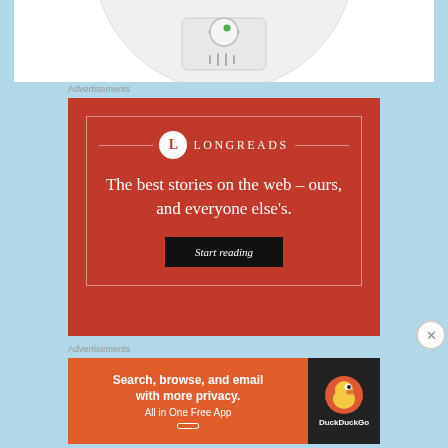[Figure (photo): Partial view of a white spherical device (possibly an air purifier or baby monitor) with a control knob, green indicator light, and heat vent slits at bottom]
Advertisements
[Figure (infographic): Longreads advertisement on red background. Logo with circle L and LONGREADS wordmark. Text: The best stories on the web – ours, and everyone else's. Button: Start reading]
Advertisements
[Figure (infographic): DuckDuckGo advertisement. Orange left panel: Search, browse, and email with more privacy. All in One Free App. Dark right panel with DuckDuckGo duck logo and name.]